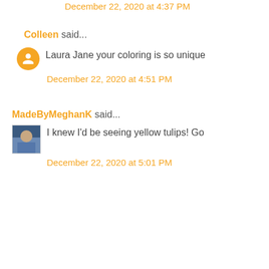December 22, 2020 at 4:37 PM
Colleen said...
Laura Jane your coloring is so unique
December 22, 2020 at 4:51 PM
MadeByMeghanK said...
I knew I'd be seeing yellow tulips! Go
December 22, 2020 at 5:01 PM